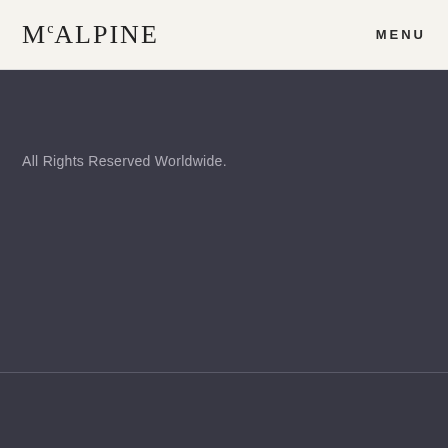McALPINE   MENU
All Rights Reserved Worldwide.
160 COMMENTS